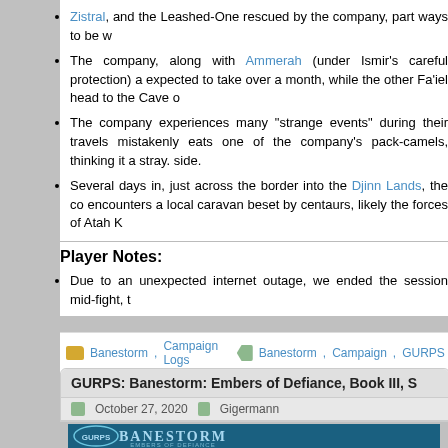Zistral, and the Leashed-One rescued by the company, part ways to be w
The company, along with Ammerah (under Ismir's careful protection) a expected to take over a month, while the other Fa'iel head to the Cave o
The company experiences many "strange events" during their travels mistakenly eats one of the company's pack-camels, thinking it a stray. side.
Several days in, just across the border into the Djinn Lands, the co encounters a local caravan beset by centaurs, likely the forces of Atah K
Player Notes:
Due to an unexpected internet outage, we ended the session mid-fight, t
Banestorm, Campaign Logs   Banestorm, Campaign, GURPS, Recap
GURPS: Banestorm: Embers of Defiance, Book III, S
October 27, 2020   Gigermann
[Figure (illustration): GURPS Banestorm: Embers of Defiance book cover/logo image showing styled text]